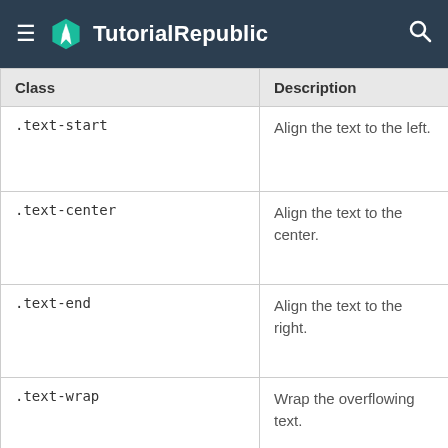TutorialRepublic
| Class | Description | Te |
| --- | --- | --- |
| .text-start | Align the text to the left. | Ex |
| .text-center | Align the text to the center. | Ex |
| .text-end | Align the text to the right. | Ex |
| .text-wrap | Wrap the overflowing text. | Ex |
| .text-nowrap | Prevent text from wrapping. | Ex |